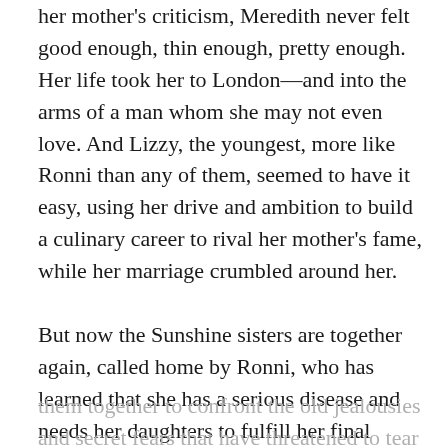her mother's criticism, Meredith never felt good enough, thin enough, pretty enough. Her life took her to London—and into the arms of a man whom she may not even love. And Lizzy, the youngest, more like Ronni than any of them, seemed to have it easy, using her drive and ambition to build a culinary career to rival her mother's fame, while her marriage crumbled around her.

But now the Sunshine sisters are together again, called home by Ronni, who has learned that she has a serious disease and needs her daughters to fulfill her final wishes. And though Nell, Meredith, and Lizzy have never been close, their mother's illness draws them together to confront the old jealousies and secret fears that have threatened to tear this sisterhood